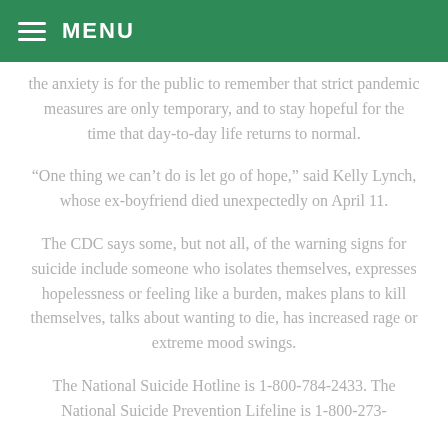MENU
the anxiety is for the public to remember that strict pandemic measures are only temporary, and to stay hopeful for the time that day-to-day life returns to normal.
“One thing we can’t do is let go of hope,” said Kelly Lynch, whose ex-boyfriend died unexpectedly on April 11.
The CDC says some, but not all, of the warning signs for suicide include someone who isolates themselves, expresses hopelessness or feeling like a burden, makes plans to kill themselves, talks about wanting to die, has increased rage or extreme mood swings.
The National Suicide Hotline is 1-800-784-2433. The National Suicide Prevention Lifeline is 1-800-273-